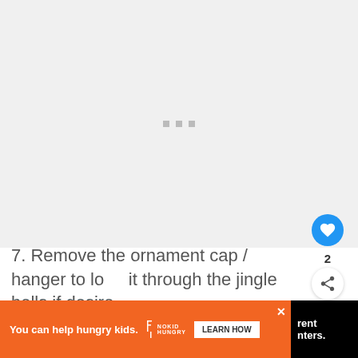[Figure (photo): Large image area with loading indicator (three small grey squares) — appears to be a loading/placeholder state for a craft tutorial photo]
7. Remove the ornament cap / hanger to loop it through the jingle bells if desired, or simply tie them on with string.
[Figure (photo): Small thumbnail image of Glick's Greenhouse plants/flowers for 'What's Next' panel]
WHAT'S NEXT → Glick's Greenhouse...
[Figure (infographic): Advertisement banner: 'You can help hungry kids.' No Kid Hungry LEARN HOW]
rent
nters.